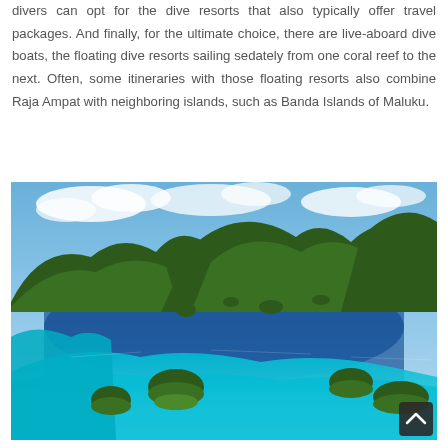divers can opt for the dive resorts that also typically offer travel packages. And finally, for the ultimate choice, there are live-aboard dive boats, the floating dive resorts sailing sedately from one coral reef to the next. Often, some itineraries with those floating resorts also combine Raja Ampat with neighboring islands, such as Banda Islands of Maluku.
[Figure (photo): Aerial view of Raja Ampat islands showing turquoise and deep blue waters surrounding multiple lush green forested islands and limestone karst formations under a partly cloudy blue sky.]